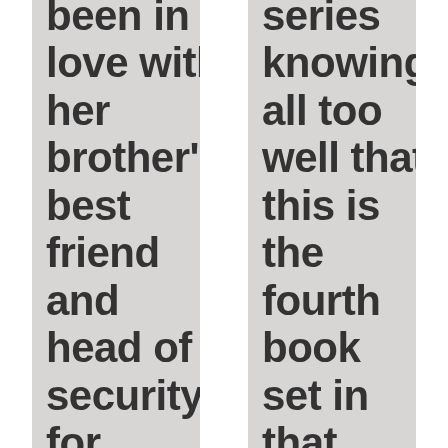been in love with her brother's best friend and head of security for longer
series knowing all too well that this is the fourth book set in that world, and I was